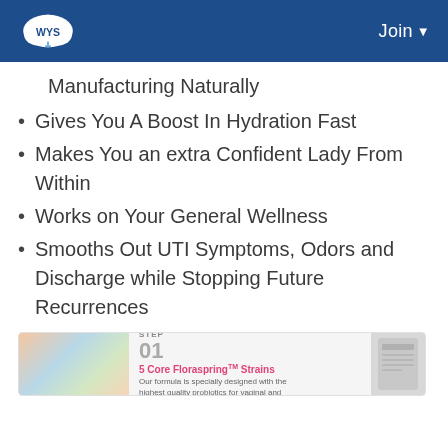WYS | Join
Manufacturing Naturally
Gives You A Boost In Hydration Fast
Makes You an extra Confident Lady From Within
Works on Your General Wellness
Smooths Out UTI Symptoms, Odors and Discharge while Stopping Future Recurrences
[Figure (screenshot): Banner showing Step 01: 5 Core FloraSpringTM Strains with promotional image and product thumbnail]